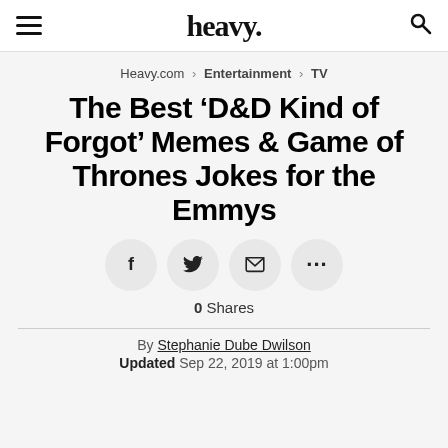heavy.
Heavy.com > Entertainment > TV
The Best ‘D&D Kind of Forgot’ Memes & Game of Thrones Jokes for the Emmys
[Figure (infographic): Four social share buttons (Facebook, Twitter, Email, More) displayed as circular grey buttons]
0 Shares
By Stephanie Dube Dwilson
Updated Sep 22, 2019 at 1:00pm